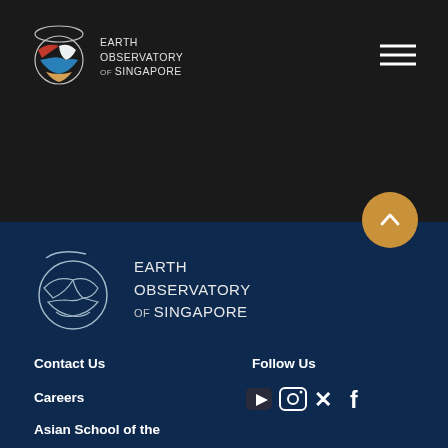[Figure (logo): Earth Observatory of Singapore logo in header — circular globe icon with red, white, blue sections, text reading EARTH OBSERVATORY OF SINGAPORE]
[Figure (other): Hamburger menu icon (three horizontal white lines) in top right corner]
[Figure (other): Golden/amber circular back-to-top button with upward chevron arrow]
[Figure (logo): Earth Observatory of Singapore logo in footer — outline circle globe icon in white, text reading EARTH OBSERVATORY OF SINGAPORE]
Contact Us
Follow Us
Careers
[Figure (other): Social media icons: YouTube, Instagram, Twitter, Facebook]
Asian School of the